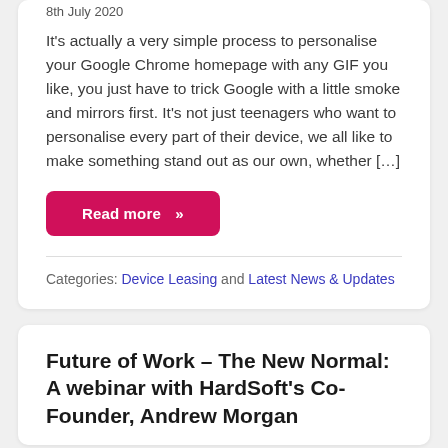8th July 2020
It's actually a very simple process to personalise your Google Chrome homepage with any GIF you like, you just have to trick Google with a little smoke and mirrors first. It's not just teenagers who want to personalise every part of their device, we all like to make something stand out as our own, whether […]
Read more »
Categories: Device Leasing and Latest News & Updates
Future of Work – The New Normal: A webinar with HardSoft's Co-Founder, Andrew Morgan